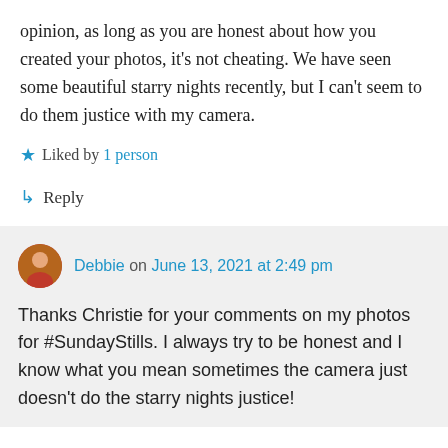opinion, as long as you are honest about how you created your photos, it's not cheating. We have seen some beautiful starry nights recently, but I can't seem to do them justice with my camera.
★ Liked by 1 person
↳ Reply
Debbie on June 13, 2021 at 2:49 pm
Thanks Christie for your comments on my photos for #SundayStills. I always try to be honest and I know what you mean sometimes the camera just doesn't do the starry nights justice!